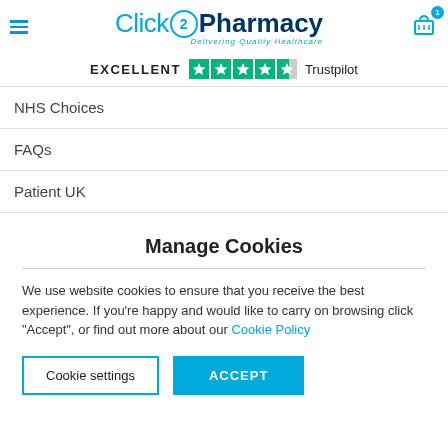[Figure (logo): Click2Pharmacy logo with hamburger menu and shopping cart icon with badge showing 1]
[Figure (infographic): EXCELLENT rating with 4.5 green Trustpilot stars and Trustpilot text]
NHS Choices
FAQs
Patient UK
Manage Cookies
We use website cookies to ensure that you receive the best experience. If you're happy and would like to carry on browsing click "Accept", or find out more about our Cookie Policy